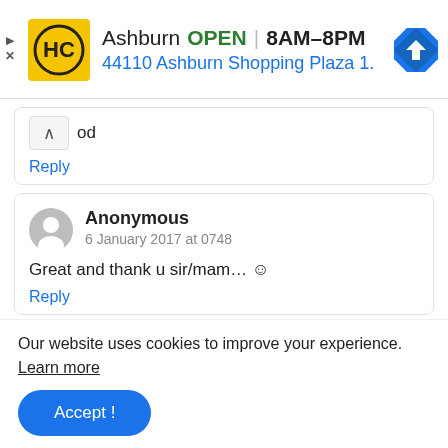[Figure (infographic): Ad banner for Ashburn HC store showing logo, open status 8AM-8PM, address 44110 Ashburn Shopping Plaza 1., and navigation icon. Play and X controls on left side.]
od
Reply
Anonymous
6 January 2017 at 0748
Great and thank u sir/mam... ☺
Reply
Our website uses cookies to improve your experience. Learn more
Accept !